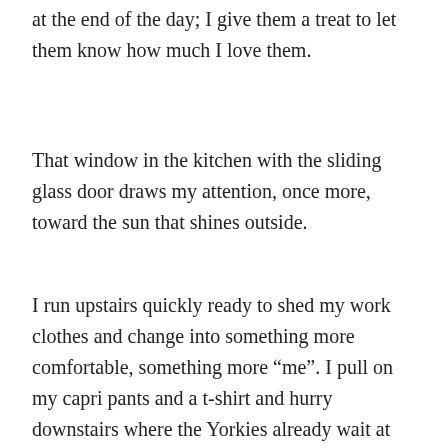at the end of the day; I give them a treat to let them know how much I love them.
That window in the kitchen with the sliding glass door draws my attention, once more, toward the sun that shines outside.
I run upstairs quickly ready to shed my work clothes and change into something more comfortable, something more “me”. I pull on my capri pants and a t-shirt and hurry downstairs where the Yorkies already wait at the door. Seems they too are eager to enjoy the remainder of the sunny day.
On the patio, I pull out the new gravity chair we purchased on the weekend and sink down into it. As the